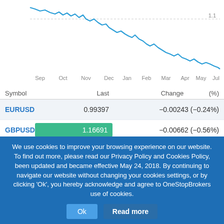[Figure (continuous-plot): Line chart showing a currency pair (EURUSD or similar) declining from approximately 1.1 level around Sep through Jul, with the x-axis showing months: Sep, Oct, Nov, Dec, Jan, Feb, Mar, Apr, May, Jul]
| Symbol | Last | Change | (%) |
| --- | --- | --- | --- |
| EURUSD | 0.99397 | −0.00243 | (−0.24%) |
| GBPUSD | 1.16691 | −0.00662 | (−0.56%) |
| USDJPY | 138.810 | +1.307 | (+0.95%) |
| USDCHF | 0.96993 | +0.00409 | (+0.42%) |
| AUDUSD | 0.68554 | −0.00346 | (−0.50%) |
| USDCAD | 1.30687 | +0.00399 | (+0.31%) |
| NZDUSD | 0.61068 | −0.00272 | (−0.44%) |
We use cookies to improve your browsing experience on our website. To find out more, please read our Privacy Policy and Cookies Policy, been updated and became effective May 24, 2018. By continuing to navigate our website without changing your cookies settings, or by clicking 'Ok', you hereby acknowledge and agree to OneStopBrokers use of cookies.